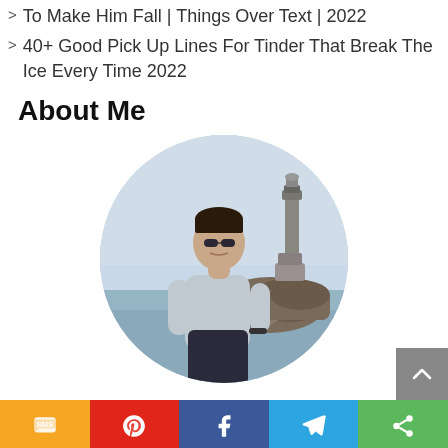To Make Him Fall | Things Over Text | 2022
40+ Good Pick Up Lines For Tinder That Break The Ice Every Time 2022
About Me
[Figure (photo): Profile photo of a man in a grey long-sleeve shirt standing near rocky coastline with a lighthouse/monument visible in the background. Photo is cropped in an oval/circle shape.]
Share bar with SMS, Pinterest, Facebook, Telegram, Share buttons